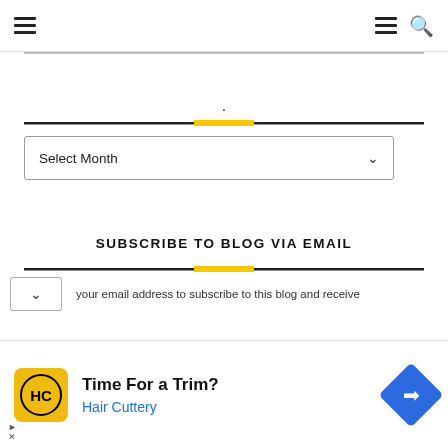Navigation header with hamburger menus and search icon
[Figure (screenshot): Horizontal rule with yellow center accent block]
Select Month (dropdown)
SUBSCRIBE TO BLOG VIA EMAIL
[Figure (screenshot): Horizontal rule with yellow center accent block below Subscribe heading]
your email address to subscribe to this blog and receive
[Figure (infographic): Advertisement banner: Time For a Trim? Hair Cuttery with HC logo and navigation arrow icon]